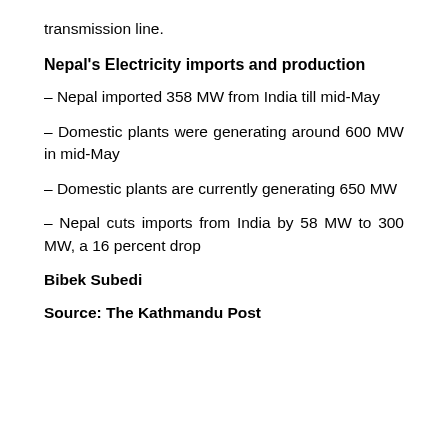transmission line.
Nepal's Electricity imports and production
– Nepal imported 358 MW from India till mid-May
– Domestic plants were generating around 600 MW in mid-May
– Domestic plants are currently generating 650 MW
– Nepal cuts imports from India by 58 MW to 300 MW, a 16 percent drop
Bibek Subedi
Source: The Kathmandu Post